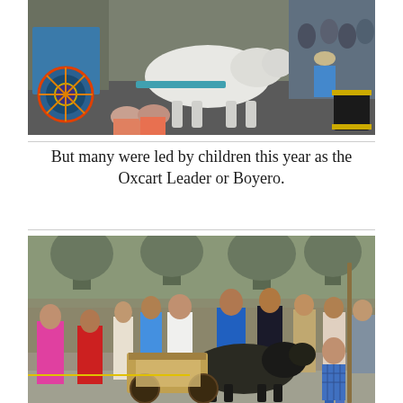[Figure (photo): Outdoor festival scene with a decorated oxcart pulled by a white bull/ox along a street, spectators watching from the sides, two women sitting in the foreground, colorful painted cart wheel visible.]
But many were led by children this year as the Oxcart Leader or Boyero.
[Figure (photo): Crowded outdoor festival scene with a dark ox/bull pulling a wooden cart through a crowd of people on a street, a man in a plaid shirt guiding the animal with a stick.]